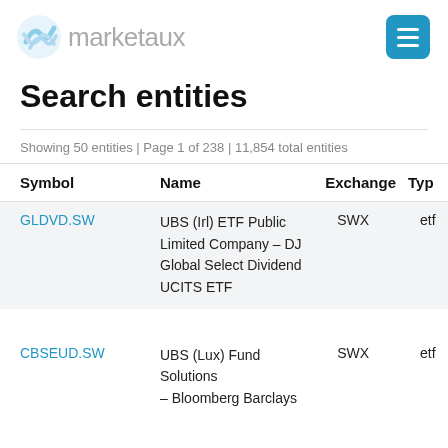marketaux
Search entities
Showing 50 entities | Page 1 of 238 | 11,854 total entities
| Symbol | Name | Exchange | Type |
| --- | --- | --- | --- |
| GLDVD.SW | UBS (Irl) ETF Public Limited Company – DJ Global Select Dividend UCITS ETF | SWX | etf |
| CBSEUD.SW | UBS (Lux) Fund Solutions – Bloomberg Barclays | SWX | etf |